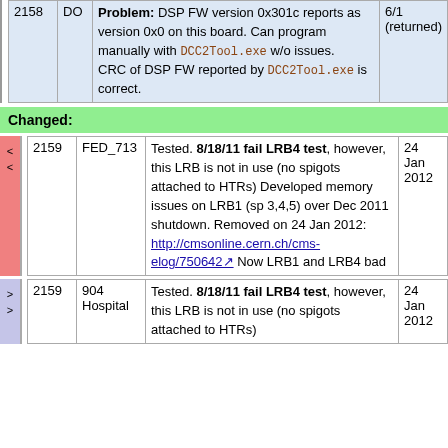|  |  | Description | Date |
| --- | --- | --- | --- |
| 2158 | DO | Problem: DSP FW version 0x301c reports as version 0x0 on this board. Can program manually with DCC2Tool.exe w/o issues. CRC of DSP FW reported by DCC2Tool.exe is correct. | 6/1 (returned) |
Changed:
| diff |  | ID | Description | Date |
| --- | --- | --- | --- | --- |
| < | 2159 | FED_713 | Tested. 8/18/11 fail LRB4 test, however, this LRB is not in use (no spigots attached to HTRs) Developed memory issues on LRB1 (sp 3,4,5) over Dec 2011 shutdown. Removed on 24 Jan 2012: http://cmsonline.cern.ch/cms-elog/750642 Now LRB1 and LRB4 bad | 24 Jan 2012 |
| > | 2159 | 904 Hospital | Tested. 8/18/11 fail LRB4 test, however, this LRB is not in use (no spigots attached to HTRs) | 24 Jan 2012 |